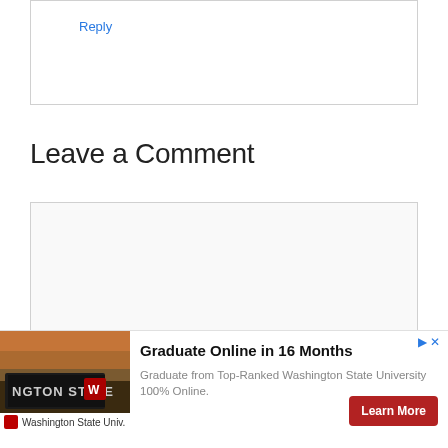Reply
Leave a Comment
[Figure (other): Empty comment text area input box]
[Figure (other): Advertisement banner for Washington State University online program. Shows campus sign image, text 'Graduate Online in 16 Months', 'Graduate from Top-Ranked Washington State University 100% Online.', and a red 'Learn More' button.]